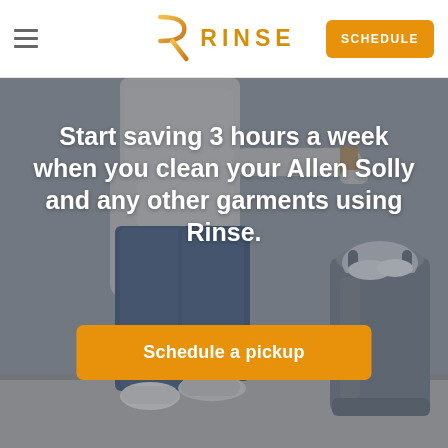≡   RINSE   SCHEDULE
[Figure (photo): Hero image showing a person's lower body walking in jeans and socks, with a grey laundry bag to the right, set against a grey background. The image has a slightly desaturated muted tone.]
Start saving 3 hours a week when you clean your Allen Solly and any other garments using Rinse.
Schedule a pickup